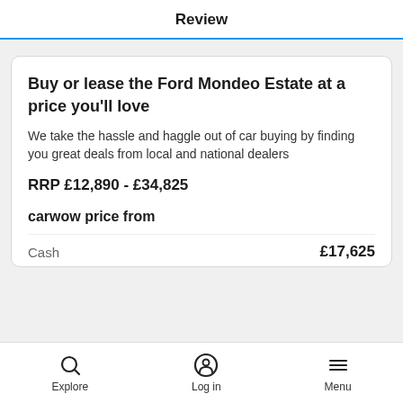Review
Buy or lease the Ford Mondeo Estate at a price you'll love
We take the hassle and haggle out of car buying by finding you great deals from local and national dealers
RRP £12,890 - £34,825
carwow price from
Cash   £17,625
Explore   Log in   Menu